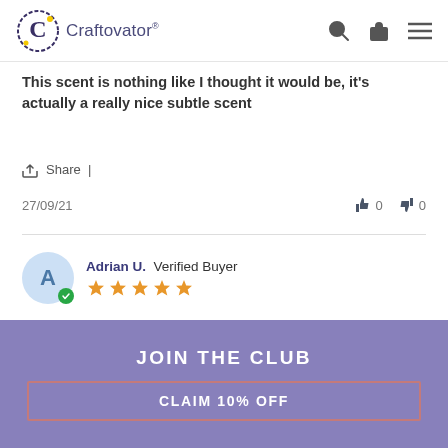[Figure (logo): Craftovator logo with stylized C and brand name]
This scent is nothing like I thought it would be, it's actually a really nice subtle scent
Share |
27/09/21   👍 0   👎 0
Adrian U. Verified Buyer — 5 stars — Great fragrance, Great fragrance,
Share |
JOIN THE CLUB
CLAIM 10% OFF